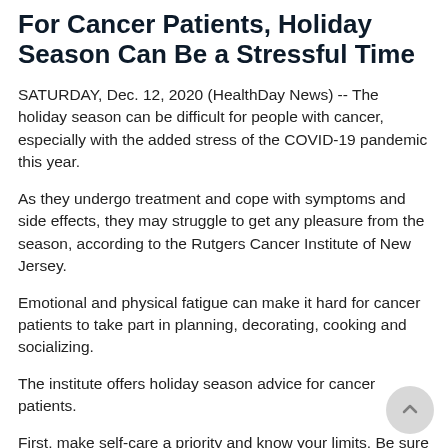For Cancer Patients, Holiday Season Can Be a Stressful Time
SATURDAY, Dec. 12, 2020 (HealthDay News) -- The holiday season can be difficult for people with cancer, especially with the added stress of the COVID-19 pandemic this year.
As they undergo treatment and cope with symptoms and side effects, they may struggle to get any pleasure from the season, according to the Rutgers Cancer Institute of New Jersey.
Emotional and physical fatigue can make it hard for cancer patients to take part in planning, decorating, cooking and socializing.
The institute offers holiday season advice for cancer patients.
First, make self-care a priority and know your limits. Be sure to get enough rest. Eat balanced meals, avoid excesses and get light exercise to ease stress. Do activities you enjoy, such as reading...